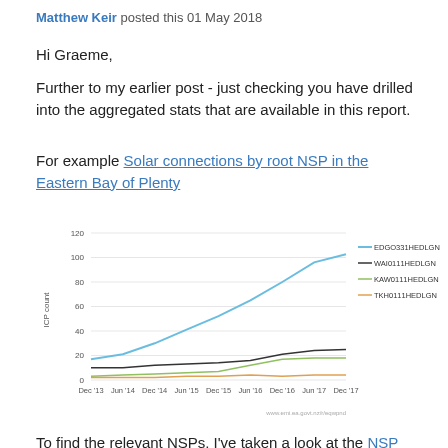Matthew Keir posted this 01 May 2018
Hi Graeme,
Further to my earlier post - just checking you have drilled into the aggregated stats that are available in this report.
For example Solar connections by root NSP in the Eastern Bay of Plenty
[Figure (line-chart): ]
To find the relevant NSPs, I've taken a look at the NSP mapping table and filtered by the GN NSPs in the EBOP